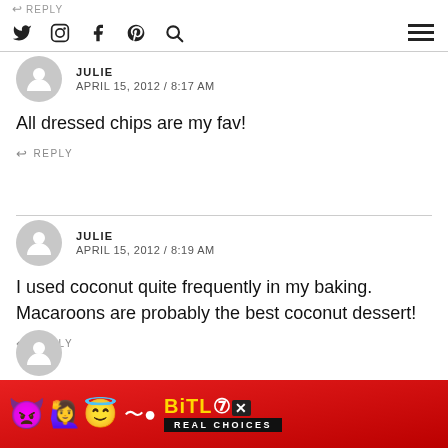← REPLY | Social icons: Twitter, Instagram, Facebook, Pinterest, Search | Hamburger menu
JULIE
APRIL 15, 2012 / 8:17 AM
All dressed chips are my fav!
↩ REPLY
JULIE
APRIL 15, 2012 / 8:19 AM
I used coconut quite frequently in my baking. Macaroons are probably the best coconut dessert!
↩ REPLY
[Figure (other): BitLife REAL CHOICES advertisement banner with emoji characters (devil, woman, angel emoji) on red background]